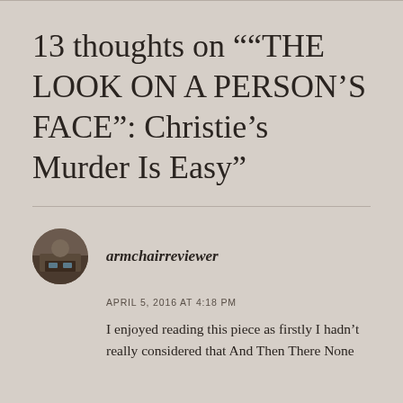13 thoughts on "“THE LOOK ON A PERSON’S FACE”: Christie’s Murder Is Easy"
armchairreviewer
APRIL 5, 2016 AT 4:18 PM
I enjoyed reading this piece as firstly I hadn’t really considered that And Then There None